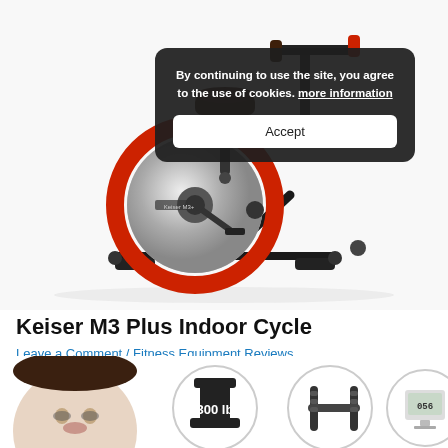[Figure (photo): Keiser M3 Plus Indoor Cycle stationary exercise bike product photo with cookie consent overlay popup. The bike is black with a silver/chrome flywheel and red accent. Overlay reads: 'By continuing to use the site, you agree to the use of cookies. more information' with an Accept button.]
Keiser M3 Plus Indoor Cycle
Leave a Comment / Fitness Equipment Reviews, Indoor Cycling Bikes / By Nnamdi Nwankwo
[Figure (infographic): Bottom row of three circular feature icons: a woman's face on left, a weight icon showing '300 lb', a handlebar/grip icon, and a digital display screen icon.]